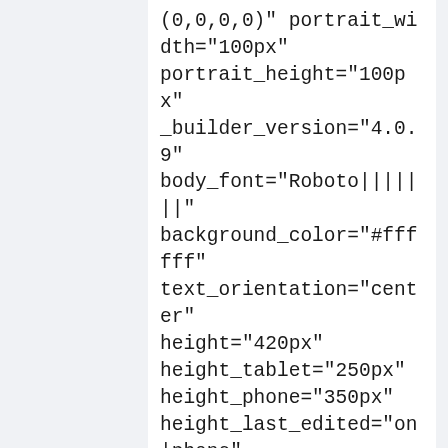(0,0,0,0)" portrait_width="100px" portrait_height="100px" _builder_version="4.0.9" body_font="Roboto|||||||" background_color="#ffffff" text_orientation="center" height="420px" height_tablet="250px" height_phone="350px" height_last_edited="on|phone" custom_padding="60px|30px|60px|30px|true|true" animation_style="zoom" animation_intensity_zoom="10%" border_radii_portrait="on|50px|50px|50px|50px" box_shadow_style="preset1" box_shadow_style_image="preset1"